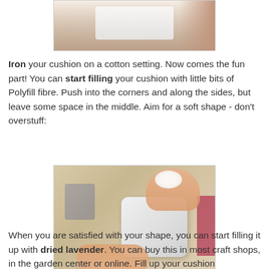[Figure (photo): Partial view of a white cushion/fabric on a wooden table with a hand visible]
Iron your cushion on a cotton setting. Now comes the fun part! You can start filling your cushion with little bits of Polyfill fibre. Push into the corners and along the sides, but leave some space in the middle. Aim for a soft shape - don't overstuff:
[Figure (photo): Hands filling a small white ribbed cushion with Polyfill fibre on a wooden table, with sewing supplies visible in the background]
When you are satisfied with your shape, you can start filling it up with dried lavender. You can buy this in most craft shops, in the garden center or online. Fill up your cushion